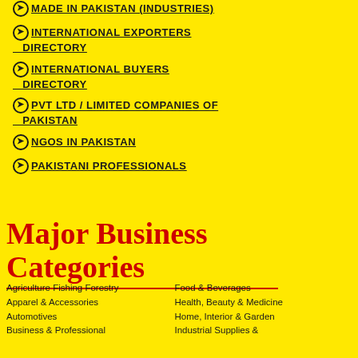MADE IN PAKISTAN (INDUSTRIES)
INTERNATIONAL EXPORTERS DIRECTORY
INTERNATIONAL BUYERS DIRECTORY
PVT LTD / LIMITED COMPANIES OF PAKISTAN
NGOS IN PAKISTAN
PAKISTANI PROFESSIONALS
Major Business Categories
Agriculture Fishing Forestry
Apparel & Accessories
Automotives
Business & Professional
Food & Beverages
Health, Beauty & Medicine
Home, Interior & Garden
Industrial Supplies &